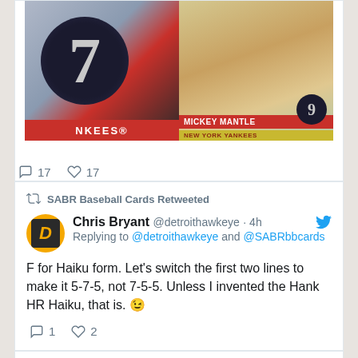[Figure (screenshot): Two baseball card images side by side: left shows a circular dark design with number 7 (Yankees), right shows Mickey Mantle baseball card (New York Yankees)]
17 replies  17 likes
SABR Baseball Cards Retweeted
Chris Bryant @detroithawkeye · 4h
Replying to @detroithawkeye and @SABRbbcards
F for Haiku form. Let's switch the first two lines to make it 5-7-5, not 7-5-5. Unless I invented the Hank HR Haiku, that is. 😉
1 reply  2 likes
View more on Twitter